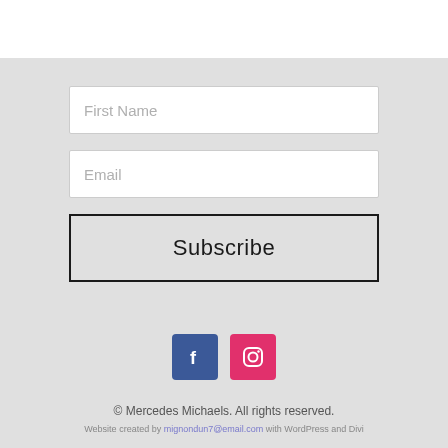[Figure (screenshot): Web form with First Name input, Email input, Subscribe button, Facebook and Instagram social icons, copyright notice, and website credit line.]
First Name
Email
Subscribe
© Mercedes Michaels. All rights reserved.
Website created by mignondun7@email.com with WordPress and Divi